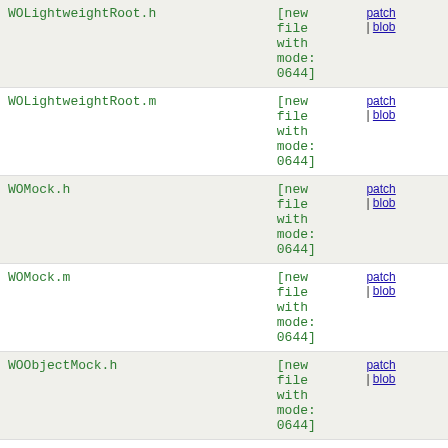| Filename | Status | Links |
| --- | --- | --- |
| WOLightweightRoot.h | [new file with mode: 0644] | patch | blob |
| WOLightweightRoot.m | [new file with mode: 0644] | patch | blob |
| WOMock.h | [new file with mode: 0644] | patch | blob |
| WOMock.m | [new file with mode: 0644] | patch | blob |
| WOObjectMock.h | [new file with mode: 0644] | patch | blob |
| WOObjectMock.m | [new file with mode: 0644] | patch | blob |